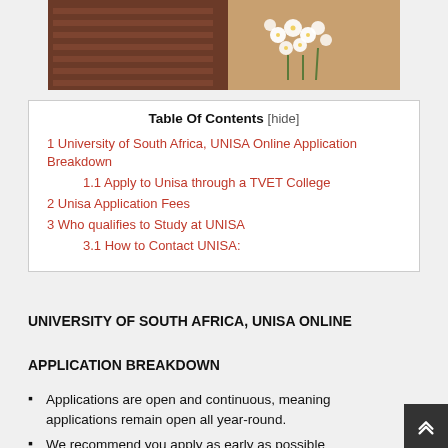[Figure (photo): Photo of wooden structure/bench with white flowers against sandy/earthy background]
| 1 University of South Africa, UNISA Online Application Breakdown |
| 1.1 Apply to Unisa through a TVET College |
| 2 Unisa Application Fees |
| 3 Who qualifies to Study at UNISA |
| 3.1 How to Contact UNISA: |
UNIVERSITY OF SOUTH AFRICA, UNISA ONLINE APPLICATION BREAKDOWN
APPLICATION BREAKDOWN
Applications are open and continuous, meaning applications remain open all year-round.
We recommend you apply as early as possible